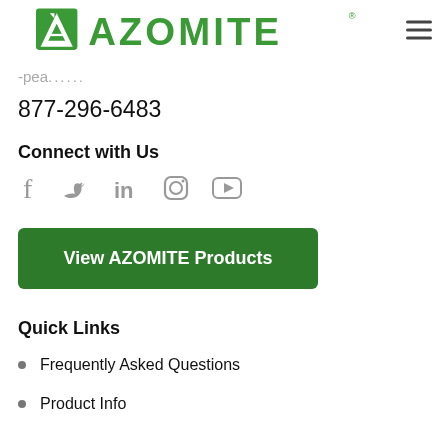AZOMITE
-pea...oo
877-296-6483
Connect with Us
[Figure (infographic): Social media icons: Facebook, Twitter, LinkedIn, Instagram, YouTube]
View AZOMITE Products
Quick Links
Frequently Asked Questions
Product Info (truncated)